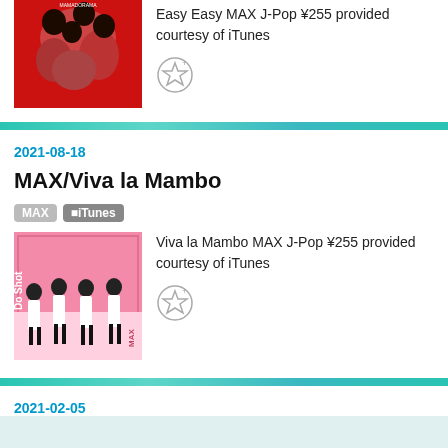[Figure (photo): Album cover for MAX Easy Easy - red background with four women posing]
Easy Easy MAX J-Pop ¥255 provided courtesy of iTunes
[Figure (illustration): Add to favorites star icon (grey, with plus sign)]
2021-08-18
MAX/Viva la Mambo
MAX
■iTunes
[Figure (photo): Album cover Do Shot by MAX - pink background with four women in white outfits]
Viva la Mambo MAX J-Pop ¥255 provided courtesy of iTunes
[Figure (illustration): Add to favorites star icon (grey, with plus sign)]
2021-02-05